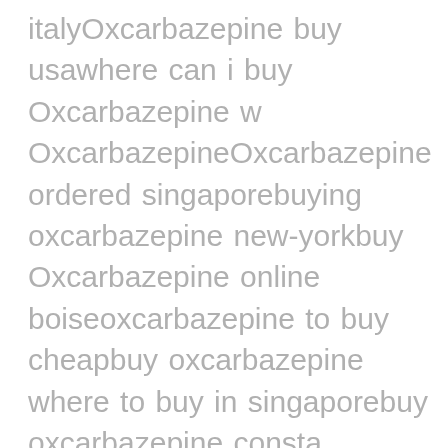italyOxcarbazepine buy usawhere can i buy Oxcarbazepine w OxcarbazepineOxcarbazepine ordered singaporebuying oxcarbazepine new-yorkbuy Oxcarbazepine online boiseoxcarbazepine to buy cheapbuy oxcarbazepine where to buy in singaporebuy oxcarbazepine consta onlinewhere i can buy Oxcarbazepine canadaOxcarbazepine buy by paypalachat Oxcarbazepine belgiquewere to buy OxcarbazepineOxcarbazepine price buyhow to order oxcarbazepine for cheap onlinecheapest Oxcarbazepine suppliersbuy legitimate Oxcarbazepinebuy Oxcarbazepine for